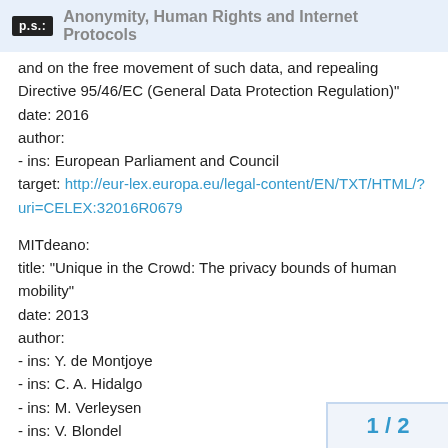p.s.: Anonymity, Human Rights and Internet Protocols
and on the free movement of such data, and repealing Directive 95/46/EC (General Data Protection Regulation)"
date: 2016
author:
- ins: European Parliament and Council
target: http://eur-lex.europa.eu/legal-content/EN/TXT/HTML/?uri=CELEX:32016R0679
MITdeano:
title: “Unique in the Crowd: The privacy bounds of human mobility”
date: 2013
author:
- ins: Y. de Montjoye
- ins: C. A. Hidalgo
- ins: M. Verleysen
- ins: V. Blondel
target: https://www.nature.com/articles/srep01376
EUcourt:
1 / 2